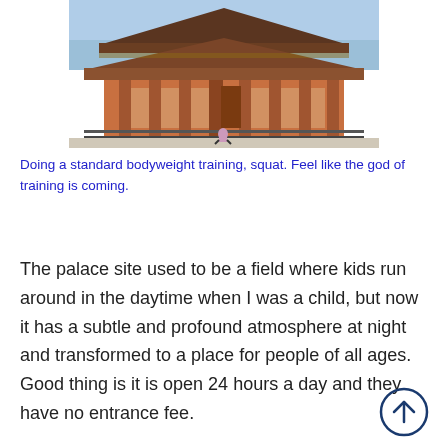[Figure (photo): A large traditional Japanese temple gate (likely Todai-ji or Heijo Palace) with red-orange wooden pillars and multi-tiered roof, photographed from below against a blue sky. A small person is visible doing a squat in front of the building.]
Doing a standard bodyweight training, squat. Feel like the god of training is coming.
The palace site used to be a field where kids run around in the daytime when I was a child, but now it has a subtle and profound atmosphere at night and transformed to a place for people of all ages. Good thing is it is open 24 hours a day and they have no entrance fee.